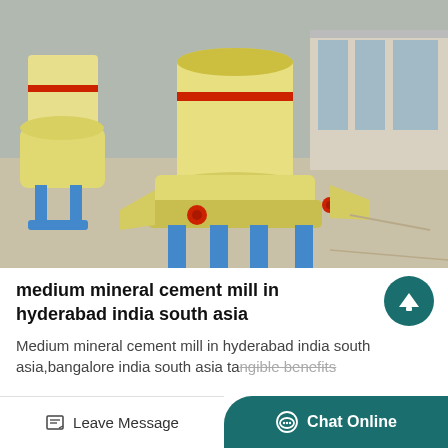[Figure (photo): Yellow industrial cement/mineral grinding mill machine with blue steel legs and red valve fittings, photographed outdoors in a factory yard. Multiple large cylindrical mill units are visible with a commercial building in the background.]
medium mineral cement mill in hyderabad india south asia
Medium mineral cement mill in hyderabad india south asia,bangalore india south asia tangible benefits
Leave Message   Chat Online